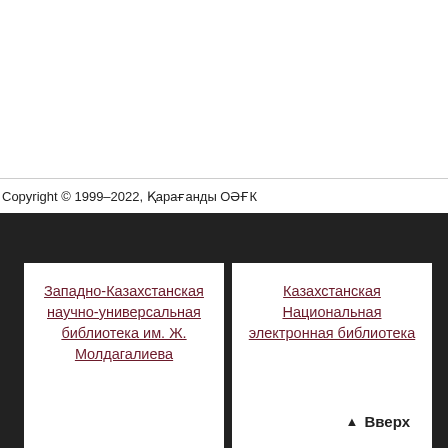Copyright © 1999–2022, Қарағанды ОӘҒК
Западно-Казахстанская научно-универсальная библиотека им. Ж. Молдагалиева
Казахстанская Национальная электронная библиотека
▲ Вверх